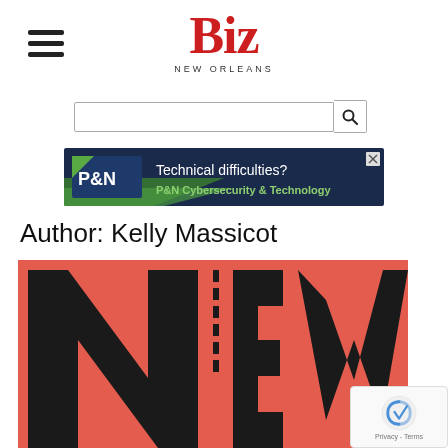Biz New Orleans
[Figure (screenshot): P&N Cybersecurity & Technology advertisement banner: dark blue background with green accent, text 'Technical difficulties? P&N Cybersecurity & Technology']
Author: Kelly Massicot
[Figure (illustration): Partial view of a red/coral background with large black letters spelling 'NEW' partially visible at bottom of page]